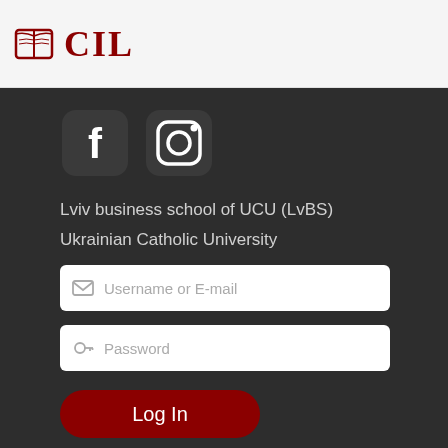[Figure (logo): LvBS logo with book icon and stylized text in dark red]
[Figure (illustration): Social media icons: Facebook and Instagram, white on dark rounded square backgrounds]
Lviv business school of UCU (LvBS)
Ukrainian Catholic University
Username or E-mail
Password
Log In